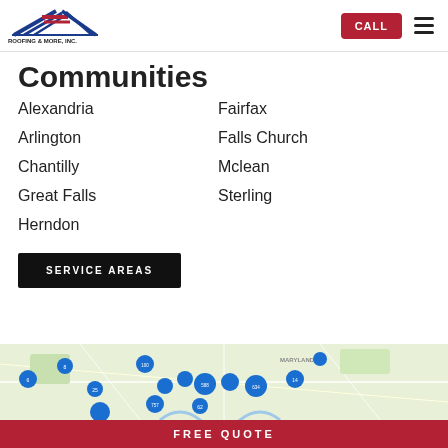[Figure (logo): Roofing & More, Inc. logo with diagonal roof lines in blue and red, company name below]
Communities
Alexandria
Arlington
Chantilly
Great Falls
Herndon
Fairfax
Falls Church
Mclean
Sterling
SERVICE AREAS
[Figure (map): Geographic map of Virginia/Maryland area with blue circular markers indicating service locations around the Washington DC metro area]
FREE QUOTE